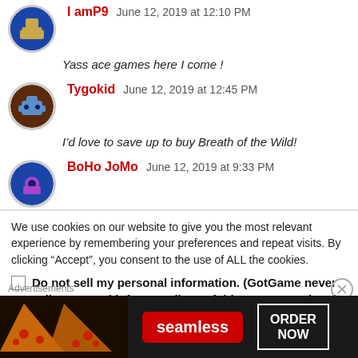I amP9   June 12, 2019 at 12:10 PM
Yass ace games here I come !
Tygokid   June 12, 2019 at 12:45 PM
I’d love to save up to buy Breath of the Wild!
BoHo JoMo   June 12, 2019 at 9:33 PM
We use cookies on our website to give you the most relevant experience by remembering your preferences and repeat visits. By clicking “Accept”, you consent to the use of ALL the cookies.
Do not sell my personal information. (GotGame never sells personal info regardless of this CCPA mandated option)
Advertisements
[Figure (photo): Seamless food delivery advertisement banner showing pizza slices on left, Seamless red logo in center, and ORDER NOW button on right]